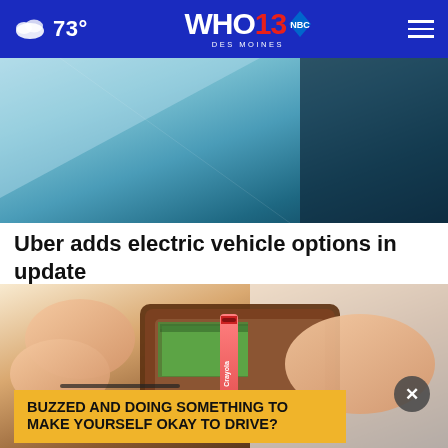73° WHO 13 DES MOINES
[Figure (photo): Top portion of an article image showing a blurred teal/blue background with dark shapes, partial view]
Uber adds electric vehicle options in update
[Figure (photo): Hands holding open a brown leather wallet with a Crayola crayon and money inside, on white background]
BUZZED AND DOING SOMETHING TO MAKE YOURSELF OKAY TO DRIVE?